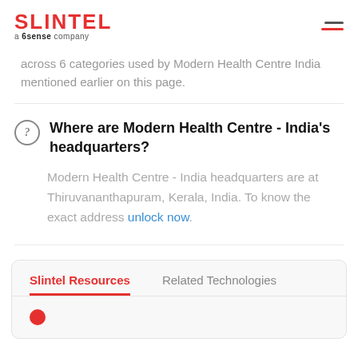SLINTEL a 6sense company
across 6 categories used by Modern Health Centre India mentioned earlier on this page.
Where are Modern Health Centre - India's headquarters?
Modern Health Centre - India headquarters are at Thiruvananthapuram, Kerala, India. To know the exact address unlock now.
Slintel Resources
Related Technologies